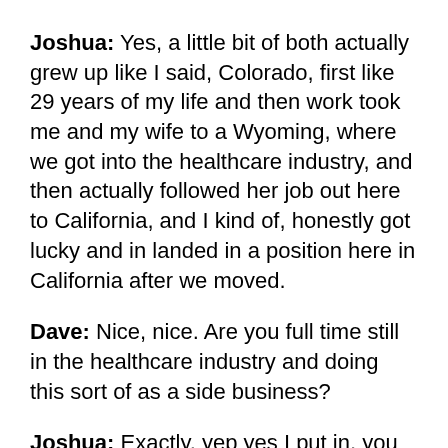Joshua: Yes, a little bit of both actually grew up like I said, Colorado, first like 29 years of my life and then work took me and my wife to a Wyoming, where we got into the healthcare industry, and then actually followed her job out here to California, and I kind of, honestly got lucky and in landed in a position here in California after we moved.
Dave: Nice, nice. Are you full time still in the healthcare industry and doing this sort of as a side business?
Joshua: Exactly, yep yes I put in, you know about 50, 55 hours a week I mean COVID And everything that happened last year, didn't do anything to cut hours but yeah so still, it's still doing that and, you know, trying to get my, my business up off the ground. In my